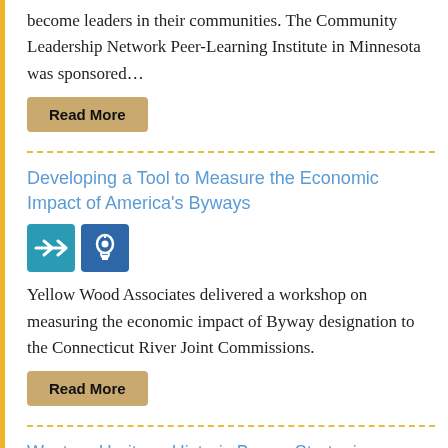become leaders in their communities. The Community Leadership Network Peer-Learning Institute in Minnesota was sponsored…
Read More
Developing a Tool to Measure the Economic Impact of America's Byways
[Figure (infographic): Two icon badges: a teal badge with forward arrows icon and a blue badge with lightbulb icon]
Yellow Wood Associates delivered a workshop on measuring the economic impact of Byway designation to the Connecticut River Joint Commissions.
Read More
Western Heritage Historic Byway Strategic Planning
[Figure (infographic): One teal badge with forward arrows icon]